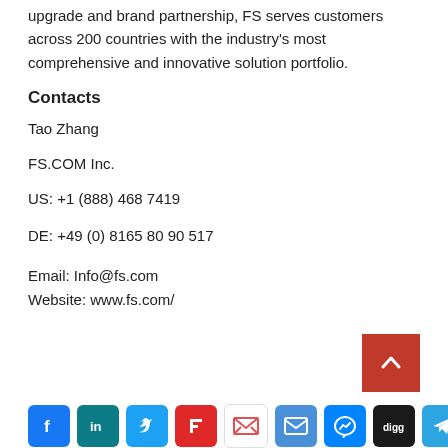upgrade and brand partnership, FS serves customers across 200 countries with the industry's most comprehensive and innovative solution portfolio.
Contacts
Tao Zhang
FS.COM Inc.
US: +1 (888) 468 7419
DE: +49 (0) 8165 80 90 517
Email: Info@fs.com
Website: www.fs.com/
[Figure (other): Social media share icons row: Facebook (blue), LinkedIn (teal), Twitter (light blue), Flipboard (red), Gmail (red/white), Email (blue), Messenger (blue gradient), Digg (black), Telegram (blue)]